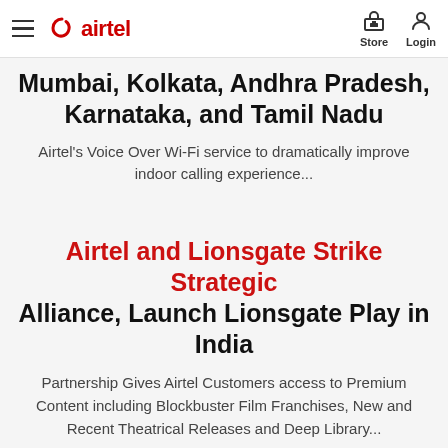airtel — Store, Login
Mumbai, Kolkata, Andhra Pradesh, Karnataka, and Tamil Nadu
Airtel's Voice Over Wi-Fi service to dramatically improve indoor calling experience...
Airtel and Lionsgate Strike Strategic Alliance, Launch Lionsgate Play in India
Partnership Gives Airtel Customers access to Premium Content including Blockbuster Film Franchises, New and Recent Theatrical Releases and Deep Library...